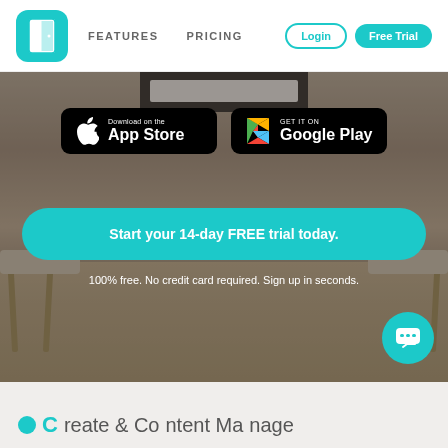[Figure (logo): Happy Open House teal door logo icon]
FEATURES
PRICING
Login
Free Trial
[Figure (photo): Room background photo showing chairs and a desk with a monitor]
[Figure (other): Download on the App Store button]
[Figure (other): GET IT ON Google Play button]
Start your 14-day FREE trial today.
100% free. No credit card required. Sign up in seconds.
C... & C....... M......